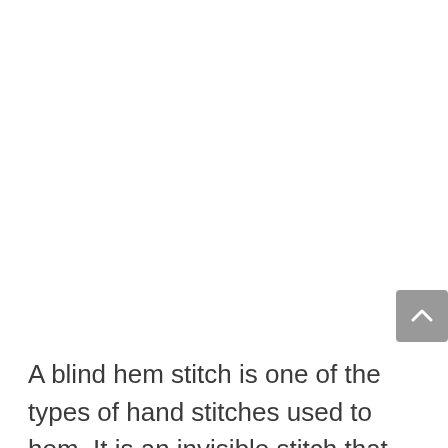[Figure (other): Scroll-to-top button: a rounded rectangle in grey with a white upward-pointing chevron/caret icon]
A blind hem stitch is one of the types of hand stitches used to hem. It is an invisible stitch that can create a neat finish.